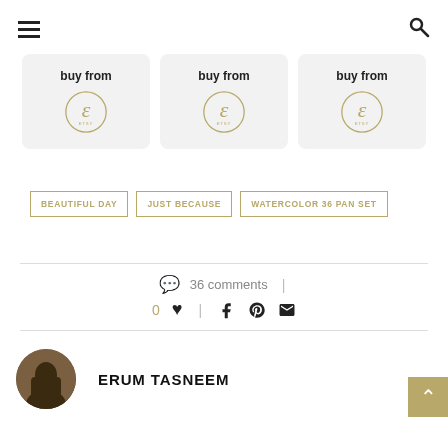Navigation menu and search icon
[Figure (other): Three 'buy from Etsy' product cards in a row, each showing 'buy from' text and an Etsy logo]
BEAUTIFUL DAY
JUST BECAUSE
WATERCOLOR 36 PAN SET
36 comments
0 (like) | (facebook) (pinterest) (email)
ERUM TASNEEM